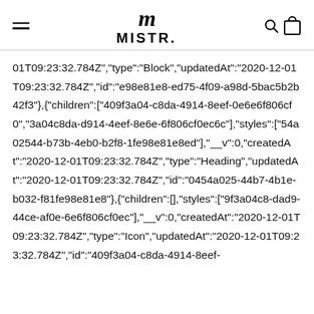MISTR.
01T09:23:32.784Z","type":"Block","updatedAt":"2020-12-01T09:23:32.784Z","id":"e98e81e8-ed75-4f09-a98d-5bac5b2b42f3"},{"children":["409f3a04-c8da-4914-8eef-0e6e6f806cf0","3a04c8da-d914-4eef-8e6e-6f806cf0ec6c"],"styles":["54a02544-b73b-4eb0-b2f8-1fe98e81e8ed"],"__v":0,"createdAt":"2020-12-01T09:23:32.784Z","type":"Heading","updatedAt":"2020-12-01T09:23:32.784Z","id":"0454a025-44b7-4b1e-b032-f81fe98e81e8"},{"children":[],"styles":["9f3a04c8-dad9-44ce-af0e-6e6f806cf0ec"],"__v":0,"createdAt":"2020-12-01T09:23:32.784Z","type":"Icon","updatedAt":"2020-12-01T09:23:32.784Z","id":"409f3a04-c8da-4914-8eef-